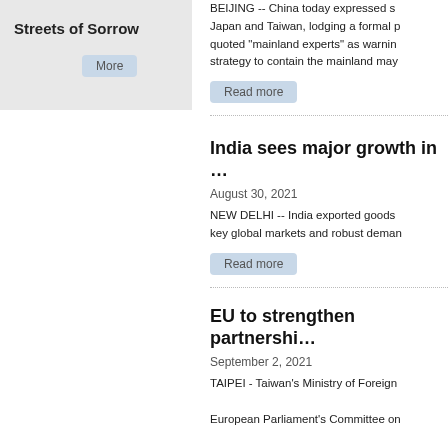Streets of Sorrow
More
BEIJING -- China today expressed s… Japan and Taiwan, lodging a formal p… quoted "mainland experts" as warnin… strategy to contain the mainland may…
Read more
India sees major growth in …
August 30, 2021
NEW DELHI -- India exported goods … key global markets and robust deman…
Read more
EU to strengthen partnershi…
September 2, 2021
TAIPEI - Taiwan's Ministry of Foreign…
European Parliament's Committee on…